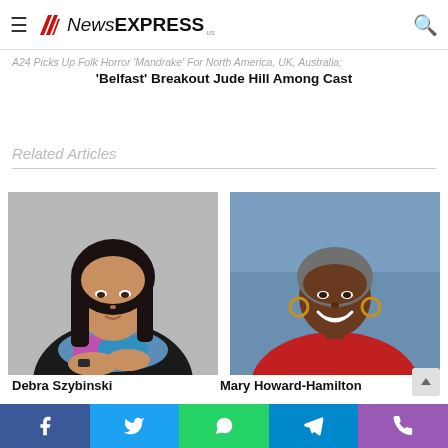NewsEXPRESS
A24 Picks Up Folk Horror 'Mandrake' For North America, UK, Australia; 'Belfast' Breakout Jude Hill Among Cast
Related Articles
[Figure (photo): Headshot of Debra Szybinski, a woman with long dark hair, wearing a colorful scarf, leaning on her hands]
Debra Szybinski
[Figure (photo): Headshot of Mary Howard-Hamilton, a woman smiling, wearing a red jacket, with short grey hair and hoop earrings, blue background]
Mary Howard-Hamilton